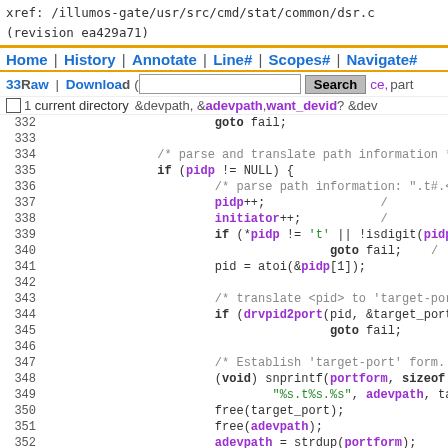xref: /illumos-gate/usr/src/cmd/stat/common/dsr.c
(revision ea429a71)
Home | History | Annotate | Line# | Scopes# | Navigate#
33Raw | Download
[Figure (screenshot): Source code viewer showing C code lines 329-354 from dsr.c with syntax highlighting]
current directory
332   goto fail;
333
334   /* parse and translate path information */
335   if (pidp != NULL) {
336     /* parse path information: ".t#.<p */
337     pidp++;
338     initiator++;
339     if (*pidp != 't' || !isdigit(pidp
340           goto fail;
341     pid = atoi(&pidp[1]);
342
343     /* translate <pid> to 'target-port */
344     if (drvpid2port(pid, &target_port)
345           goto fail;
346
347     /* Establish 'target-port' form. */
348     (void) snprintf(portform, sizeof p
349           "%s.t%s.%s", adevpath, target_
350     free(target_port);
351     free(adevpath);
352     adevpath = strdup(portform);
353   }
354